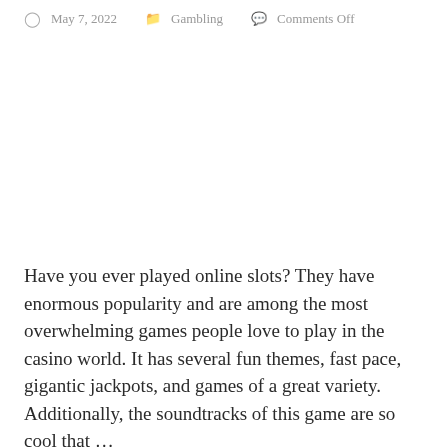May 7, 2022   Gambling   Comments Off
Have you ever played online slots? They have enormous popularity and are among the most overwhelming games people love to play in the casino world. It has several fun themes, fast pace, gigantic jackpots, and games of a great variety. Additionally, the soundtracks of this game are so cool that …
Read More »